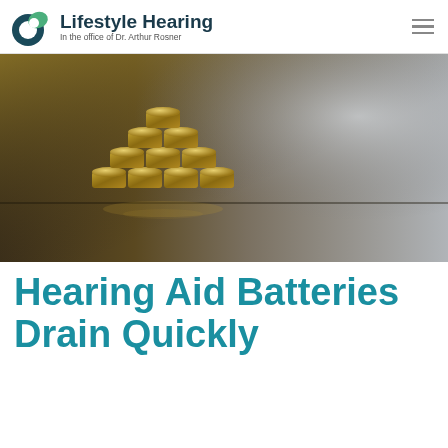Lifestyle Hearing — In the office of Dr. Arthur Rosner
[Figure (photo): Stack of gold-colored hearing aid button batteries arranged in a pyramid on a dark reflective surface, with a gradient background from warm light on the left to cool grey on the right.]
Hearing Aid Batteries Drain Quickly